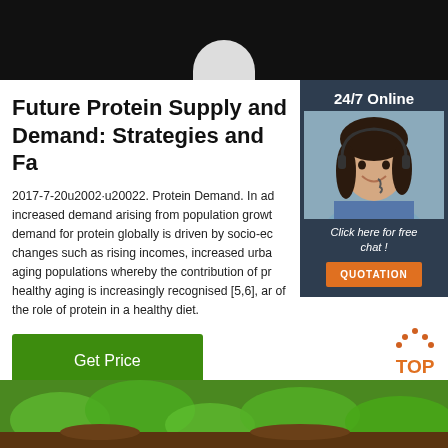[Figure (photo): Dark background with a white pill/capsule visible at the top]
Future Protein Supply and Demand: Strategies and Fa…
[Figure (infographic): Sidebar with 24/7 Online customer service agent photo, 'Click here for free chat!' text, and orange QUOTATION button]
2017-7-20u2002·u20022. Protein Demand. In ad increased demand arising from population growth demand for protein globally is driven by socio-ec changes such as rising incomes, increased urba aging populations whereby the contribution of pr healthy aging is increasingly recognised [5,6], ar of the role of protein in a healthy diet.
[Figure (other): Green Get Price button]
[Figure (photo): Close-up photo of green leafy plants/lettuce on soil at bottom of page]
[Figure (other): TOP navigation icon with orange dotted arrow and TOP text]